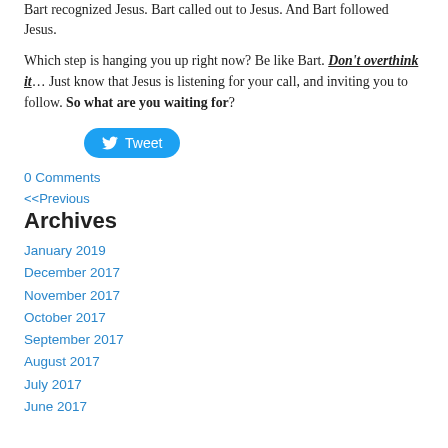Bart recognized Jesus.  Bart called out to Jesus.  And Bart followed Jesus.
Which step is hanging you up right now?  Be like Bart.  Don't overthink it… Just know that Jesus is listening for your call, and inviting you to follow.  So what are you waiting for?
[Figure (other): Twitter Tweet button (blue rounded pill button with bird icon and 'Tweet' text)]
0 Comments
<<Previous
Archives
January 2019
December 2017
November 2017
October 2017
September 2017
August 2017
July 2017
June 2017